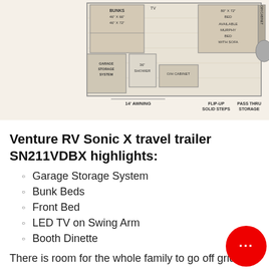[Figure (schematic): RV floor plan showing bunk beds (46x66, 46x72), TV, 60x72 bed, available Murphy bed with sofa, O/H cabinet, garage storage system, 36 shower, O/H cabinet, 14 awning, flip-up solid steps, pass thru storage.]
Venture RV Sonic X travel trailer SN211VDBX highlights:
Garage Storage System
Bunk Beds
Front Bed
LED TV on Swing Arm
Booth Dinette
There is room for the whole family to go off grid in this travel trailer! The kiddos or guests can sleep on the set of bunk beds